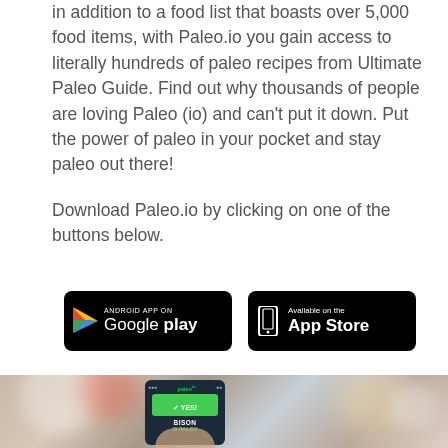in addition to a food list that boasts over 5,000 food items, with Paleo.io you gain access to literally hundreds of paleo recipes from Ultimate Paleo Guide. Find out why thousands of people are loving Paleo (io) and can't put it down. Put the power of paleo in your pocket and stay paleo out there!
Download Paleo.io by clicking on one of the buttons below.
[Figure (other): Two app download buttons side by side: 'Android App on Google Play' (black button with Google Play triangle logo) and 'Available on the App Store' (black button with iPhone icon)]
[Figure (photo): A person holding a smartphone displaying the Paleo.io app with a 'YES!' button and 'BISON IS PALEO' text visible on screen, photographed in a busy public area with bokeh background]